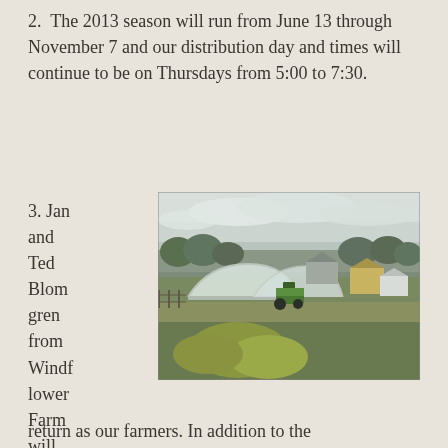2.  The 2013 season will run from June 13 through November 7 and our distribution day and times will continue to be on Thursdays from 5:00 to 7:30.
3. Jan and Ted Blomgren from Windflower Farm will return as our farmers. In addition to the vegetables, they will be also offering
[Figure (photo): Outdoor farm scene showing large white hoop greenhouses, a green tractor, farm buildings including a yellow barn, fields with green vegetation, and trees in the background under an overcast sky.]